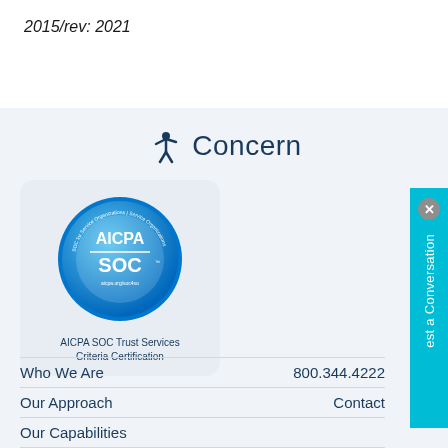2015/rev: 2021
[Figure (logo): Concern company logo with stylized person icon and the word 'Concern' in dark blue]
[Figure (logo): AICPA SOC certification badge — blue circular seal with AICPA SOC text, with caption 'AICPA SOC Trust Services Criteria Certification']
Who We Are
800.344.4222
Our Approach
Contact
Our Capabilities